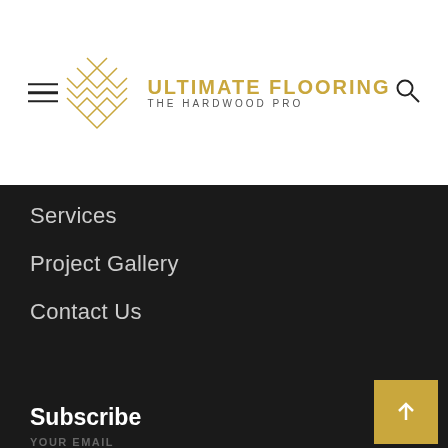[Figure (logo): Ultimate Flooring - The Hardwood Pro logo with geometric chevron/herringbone pattern in gold and brand name]
Services
Project Gallery
Contact Us
Subscribe
YOUR EMAIL